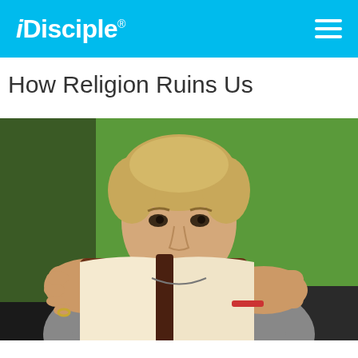iDisciple
How Religion Ruins Us
[Figure (photo): A young man with light brown hair reading a brown leather-bound book (Bible) in front of a bright green background. He is seated and wearing a grey t-shirt with a ring on his finger.]